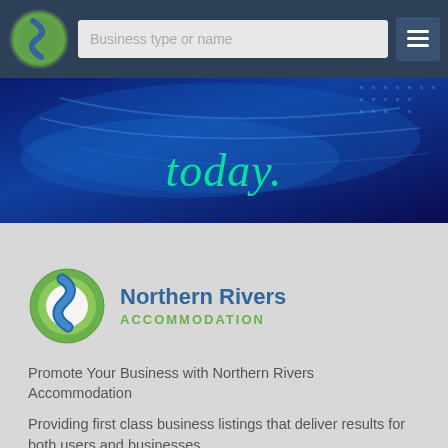[Figure (screenshot): Navigation bar with Northern Rivers logo on left, search box labeled 'Business type or name' in the middle, and hamburger menu icon on the right, on a dark blue background.]
[Figure (photo): Blue abstract banner image with the word 'today.' in teal/mint italic script font overlaid on it.]
[Figure (logo): Northern Rivers Accommodation logo: circular green leaf/water emblem with blue river shape, next to text 'Northern Rivers' in blue bold and 'ACCOMMODATION' in green caps.]
Promote Your Business with Northern Rivers Accommodation
Providing first class business listings that deliver results for both users and businesses.
Please Press Claim Listing if you are the business owner